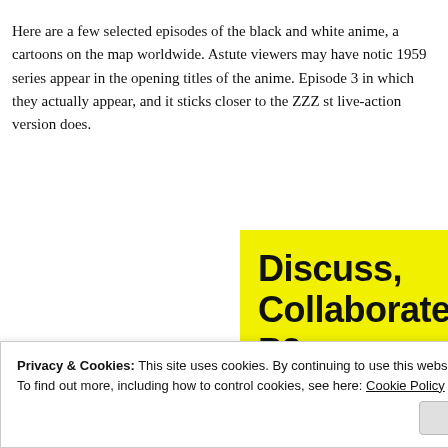Here are a few selected episodes of the black and white anime, a cartoons on the map worldwide. Astute viewers may have noticed 1959 series appear in the opening titles of the anime. Episode 30 in which they actually appear, and it sticks closer to the ZZZ sto live-action version does.
[Figure (other): Yellow advertisement or promotional box with bold black text reading 'Discuss, Collaborate, P2.' on a bright yellow background, with 'Powered by' text at bottom right.]
Privacy & Cookies: This site uses cookies. By continuing to use this website, you agree to their use.
To find out more, including how to control cookies, see here: Cookie Policy